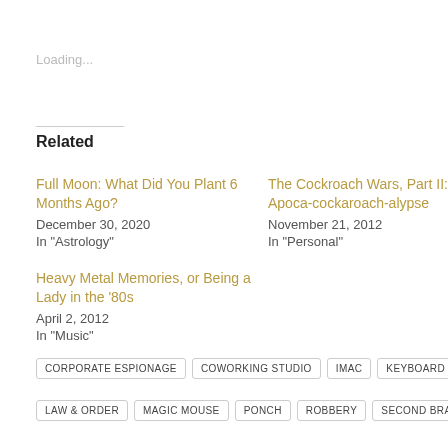Loading...
Related
Full Moon: What Did You Plant 6 Months Ago?
December 30, 2020
In "Astrology"
The Cockroach Wars, Part II: Apoca-cockaroach-alypse
November 21, 2012
In "Personal"
Heavy Metal Memories, or Being a Lady in the '80s
April 2, 2012
In "Music"
CORPORATE ESPIONAGE
COWORKING STUDIO
IMAC
KEYBOARD
LAW & ORDER
MAGIC MOUSE
PONCH
ROBBERY
SECOND BRAIN